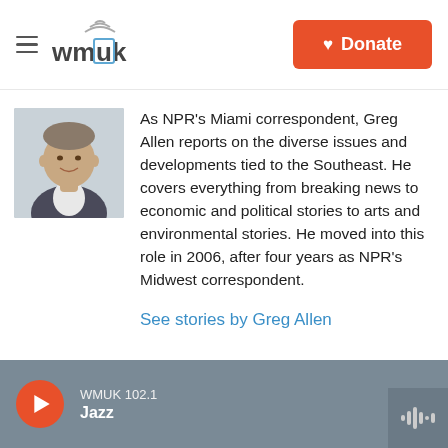WMUK | Donate
[Figure (photo): Headshot of Greg Allen, smiling man in dark blazer and white shirt]
As NPR's Miami correspondent, Greg Allen reports on the diverse issues and developments tied to the Southeast. He covers everything from breaking news to economic and political stories to arts and environmental stories. He moved into this role in 2006, after four years as NPR's Midwest correspondent.
See stories by Greg Allen
WMUK 102.1 Jazz